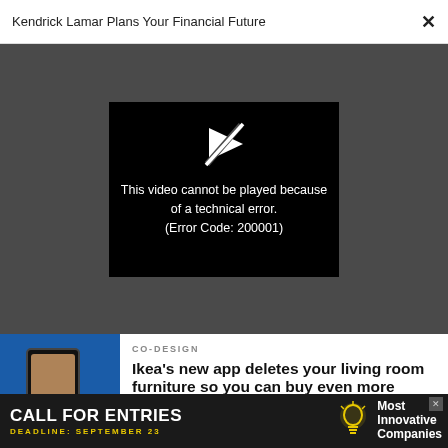Kendrick Lamar Plans Your Financial Future  ✕
[Figure (screenshot): Video player showing error: 'This video cannot be played because of a technical error. (Error Code: 200001)' on dark grey background with black video box and crossed-out play icon]
This video cannot be played because of a technical error. (Error Code: 200001)
[Figure (photo): IKEA promotional image showing a smartphone against a yellow oval on blue background]
CO-DESIGN
Ikea's new app deletes your living room furniture so you can buy even more
[Figure (photo): Partial photo of flowers/garden, partially cropped]
CO-DESIGN
[Figure (infographic): Advertisement banner: 'CALL FOR ENTRIES DEADLINE: SEPTEMBER 23' with lightbulb icon and 'Most Innovative Companies' text on dark background]